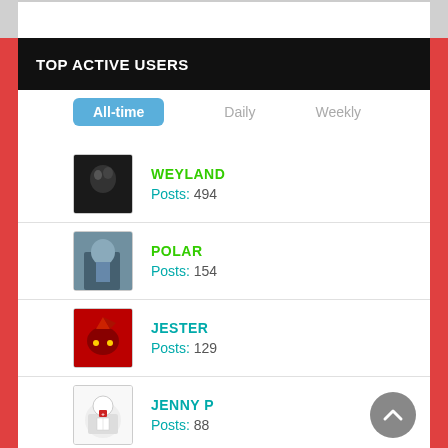TOP ACTIVE USERS
All-time | Daily | Weekly
WEYLAND - Posts: 494
POLAR - Posts: 154
JESTER - Posts: 129
JENNY P - Posts: 88
JACKEL - Posts: 74